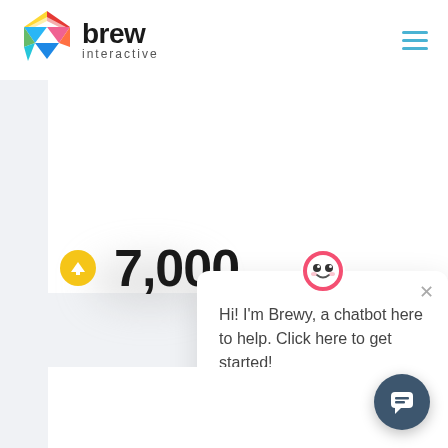[Figure (logo): Brew Interactive logo with colorful geometric triangle icon and bold 'brew interactive' wordmark]
[Figure (screenshot): Hamburger/menu icon made of three horizontal blue lines]
7,000
[Figure (illustration): Yellow circular up-arrow button icon]
[Figure (screenshot): Chatbot popup card with Brewy avatar (pink robot face), close X button, and message: Hi! I'm Brewy, a chatbot here to help. Click here to get started!]
Hi! I'm Brewy, a chatbot here to help. Click here to get started!
[Figure (illustration): Dark teal circular chat launcher button with speech bubble icon]